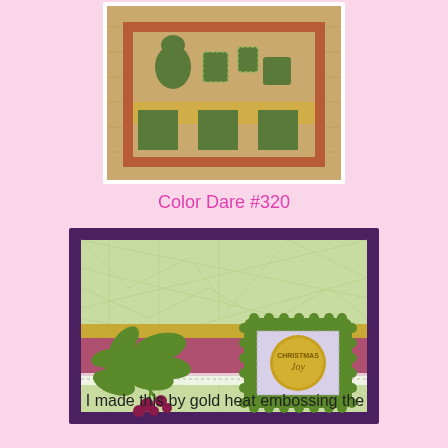[Figure (photo): Top portion of a handmade Christmas card with tan/wood grain background, orange mat layer, green squares, and green die-cut cookie/figure shapes on top.]
Color Dare #320
[Figure (photo): A handmade Christmas card on a purple/dark background. The card features a light green geometric patterned background, a horizontal band of pink and gold glitter paper, green holly die-cuts with dark pink berries, a green scalloped square frame containing a gold heat-embossed Christmas coin/medallion on a light lavender background.]
I made this by gold heat embossing the